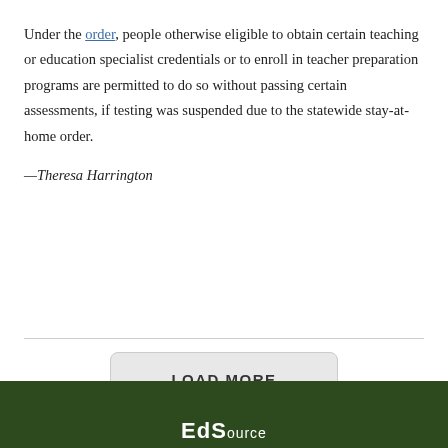Under the order, people otherwise eligible to obtain certain teaching or education specialist credentials or to enroll in teacher preparation programs are permitted to do so without passing certain assessments, if testing was suspended due to the statewide stay-at-home order.
— Theresa Harrington
LOAD MORE
EdS...